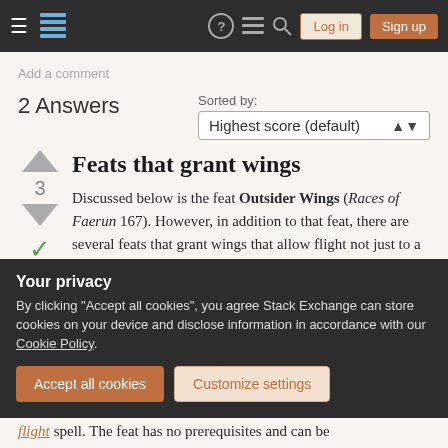Stack Exchange navigation bar with Log in and Sign up buttons
Add a comment
2 Answers
Sorted by: Highest score (default)
Feats that grant wings
Discussed below is the feat Outsider Wings (Races of Faerun 167). However, in addition to that feat, there are several feats that grant wings that allow flight not just to a tiefling monk but to any creature, even if that creature
Your privacy
By clicking "Accept all cookies", you agree Stack Exchange can store cookies on your device and disclose information in accordance with our Cookie Policy.
Accept all cookies   Customize settings
flight spell. The feat has no prerequisites and can be